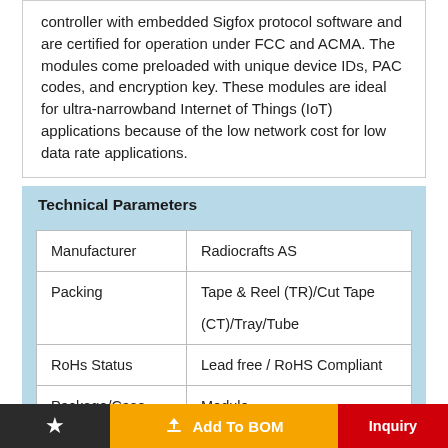controller with embedded Sigfox protocol software and are certified for operation under FCC and ACMA. The modules come preloaded with unique device IDs, PAC codes, and encryption key. These modules are ideal for ultra-narrowband Internet of Things (IoT) applications because of the low network cost for low data rate applications.
Technical Parameters
|  |  |
| --- | --- |
| Manufacturer | Radiocrafts AS |
| Packing | Tape & Reel (TR)/Cut Tape

(CT)/Tray/Tube |
| RoHs Status | Lead free / RoHS Compliant |
| Package/Case | Module |
★  Add To BOM  Inquiry